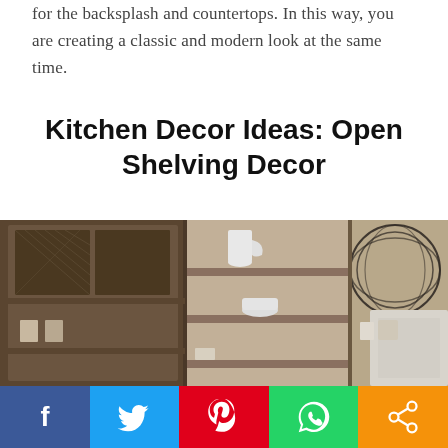for the backsplash and countertops. In this way, you are creating a classic and modern look at the same time.
Kitchen Decor Ideas: Open Shelving Decor
[Figure (photo): Kitchen open shelving with wooden cabinets displaying white ceramic dishes, mugs, and bowls, with a wire pendant lamp visible on the right side. A Pinterest share overlay button is shown in the upper right.]
[Figure (infographic): Social media share bar with buttons for Facebook, Twitter, Pinterest, WhatsApp, and a generic share icon.]